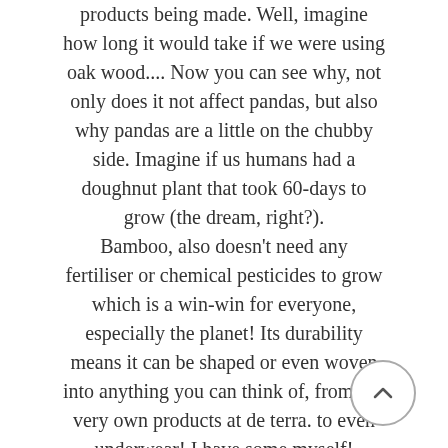products being made. Well, imagine how long it would take if we were using oak wood.... Now you can see why, not only does it not affect pandas, but also why pandas are a little on the chubby side. Imagine if us humans had a doughnut plant that took 60-days to grow (the dream, right?). Bamboo, also doesn't need any fertiliser or chemical pesticides to grow which is a win-win for everyone, especially the planet! Its durability means it can be shaped or even woven into anything you can think of, from our very own products at de terra. to even underwear! I have some myself! Due to its fast-growing rate, durability and lack of toxic chemicals used, it makes for a fantastic and possibly world leading, from our own products at de terra.